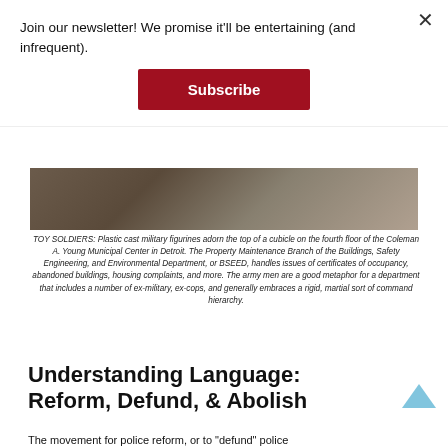Join our newsletter! We promise it'll be entertaining (and infrequent).
Subscribe
[Figure (photo): Partial view of a dark-toned image, likely showing the top of a cubicle with military figurines, from the Coleman A. Young Municipal Center in Detroit.]
TOY SOLDIERS: Plastic cast military figurines adorn the top of a cubicle on the fourth floor of the Coleman A. Young Municipal Center in Detroit. The Property Maintenance Branch of the Buildings, Safety Engineering, and Environmental Department, or BSEED, handles issues of certificates of occupancy, abandoned buildings, housing complaints, and more. The army men are a good metaphor for a department that includes a number of ex-military, ex-cops, and generally embraces a rigid, martial sort of command hierarchy.
Understanding Language: Reform, Defund, & Abolish
The movement for police reform, or to "defund" police...